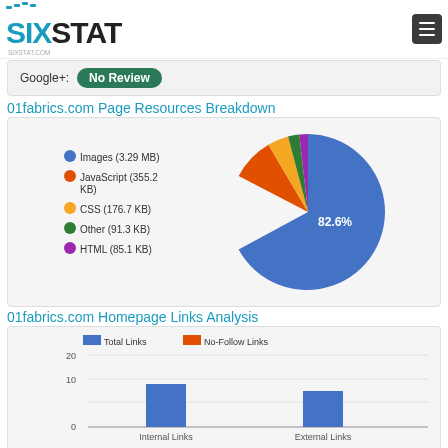SIXSTAT - sixstat.com
Google+: No Review
01fabrics.com Page Resources Breakdown
[Figure (pie-chart): Page Resources Breakdown]
01fabrics.com Homepage Links Analysis
[Figure (grouped-bar-chart): Homepage Links Analysis]